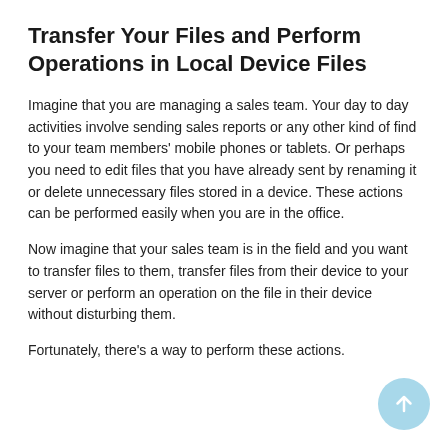Transfer Your Files and Perform Operations in Local Device Files
Imagine that you are managing a sales team. Your day to day activities involve sending sales reports or any other kind of find to your team members' mobile phones or tablets. Or perhaps you need to edit files that you have already sent by renaming it or delete unnecessary files stored in a device. These actions can be performed easily when you are in the office.
Now imagine that your sales team is in the field and you want to transfer files to them, transfer files from their device to your server or perform an operation on the file in their device without disturbing them.
Fortunately, there's a way to perform these actions.